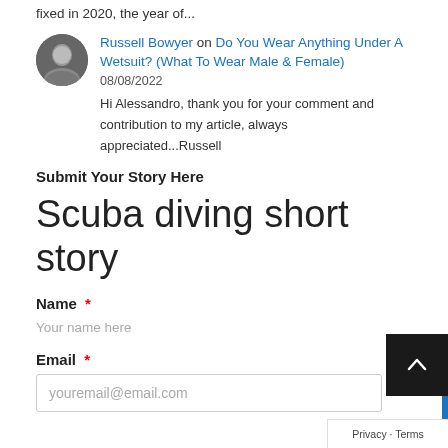fixed in 2020, the year of...
Russell Bowyer on Do You Wear Anything Under A Wetsuit? (What To Wear Male & Female)
08/08/2022
Hi Alessandro, thank you for your comment and contribution to my article, always appreciated...Russell
Submit Your Story Here
Scuba diving short story
Name *
Your name here
Email *
youremail@email.com